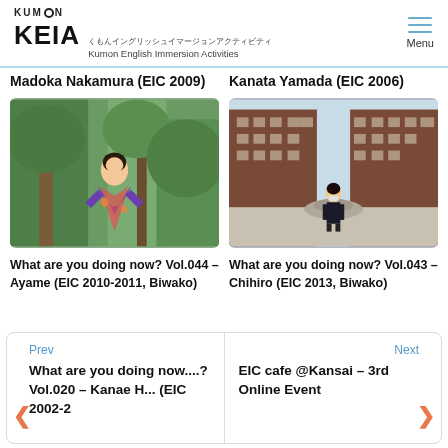KUMON KEIA くもんイングリッシュイマージョンアクティビティ Kumon English Immersion Activities
Madoka Nakamura (EIC 2009)
Kanata Yamada (EIC 2006)
[Figure (photo): Woman wearing a colorful kimono standing outdoors among green trees]
[Figure (photo): Woman in dark business attire standing in front of a large brick university building with a fountain]
What are you doing now? Vol.044 – Ayame (EIC 2010-2011, Biwako)
What are you doing now? Vol.043 – Chihiro (EIC 2013, Biwako)
Prev
What are you doing now....? Vol.020 – Kanae H...  (EIC 2002-2
Next
EIC cafe @Kansai – 3rd Online Event